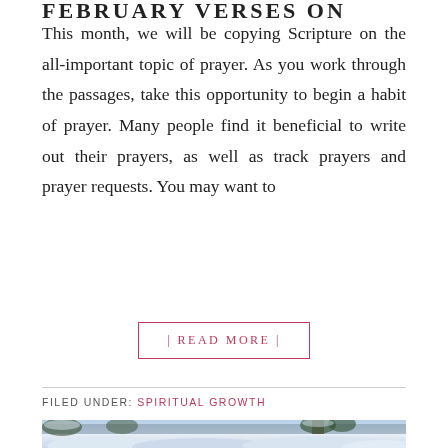FEBRUARY VERSES ON PRAYER
This month, we will be copying Scripture on the all-important topic of prayer. As you work through the passages, take this opportunity to begin a habit of prayer. Many people find it beneficial to write out their prayers, as well as track prayers and prayer requests. You may want to
| READ MORE |
FILED UNDER: SPIRITUAL GROWTH
[Figure (photo): A winter scene with snow-covered ground, bushes, and trees under a blue-grey sky.]